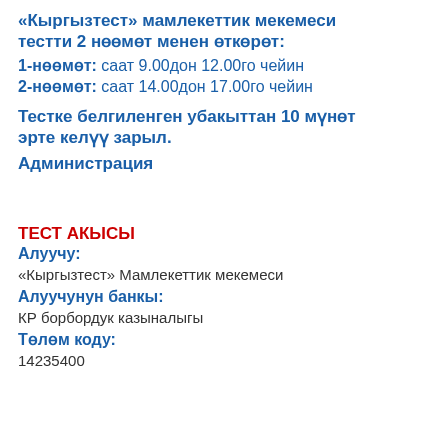«Кыргызтест» мамлекеттик мекемеси тестти 2 нөөмөт менен өткөрөт:
1-нөөмөт: саат 9.00дон 12.00го чейин
2-нөөмөт: саат 14.00дон 17.00го чейин
Тестке белгиленген убакыттан 10 мүнөт эрте келүү зарыл.
Администрация
ТЕСТ АКЫСЫ
Алуучу:
«Кыргызтест» Мамлекеттик мекемеси
Алуучунун банкы:
КР борбордук казыналыгы
Төлөм коду:
14235400